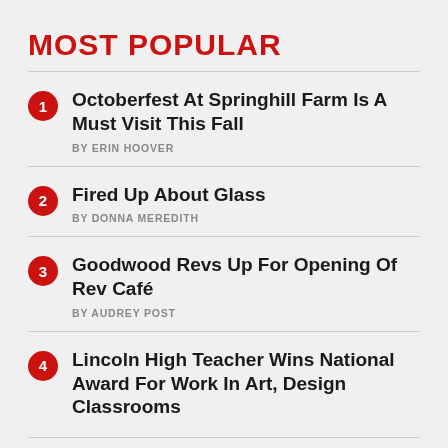MOST POPULAR
1. Octoberfest At Springhill Farm Is A Must Visit This Fall — BY ERIN HOOVER
2. Fired Up About Glass — BY DONNA MEREDITH
3. Goodwood Revs Up For Opening Of Rev Café — BY AUDREY POST
4. Lincoln High Teacher Wins National Award For Work In Art, Design Classrooms